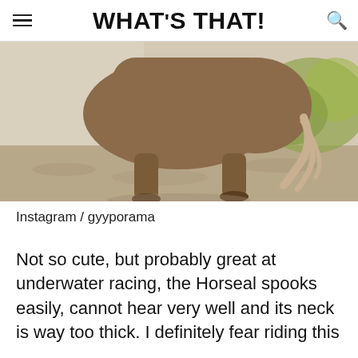WHAT'S THAT!
[Figure (photo): Rear view of a horse walking on a dirt path, showing its hind legs, tail, and hindquarters. Greenery visible in background.]
Instagram / gyyporama
Not so cute, but probably great at underwater racing, the Horseal spooks easily, cannot hear very well and its neck is way too thick. I definitely fear riding this